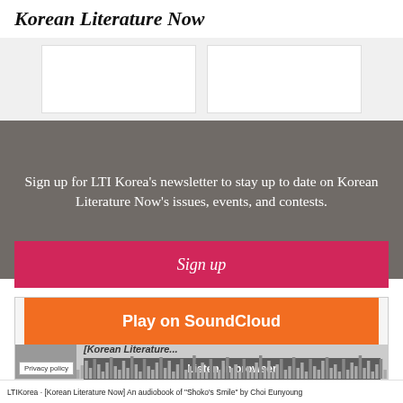Korean Literature Now
Sign up for LTI Korea's newsletter to stay up to date on Korean Literature Now's issues, events, and contests.
Sign up
[Figure (screenshot): SoundCloud embedded player widget with orange Play on SoundCloud button, thumbnail, Korean Literature Now title, Listen in browser button, and audio waveform visualization. Privacy policy label visible.]
LTIKorea · [Korean Literature Now] An audiobook of "Shoko's Smile" by Choi Eunyoung